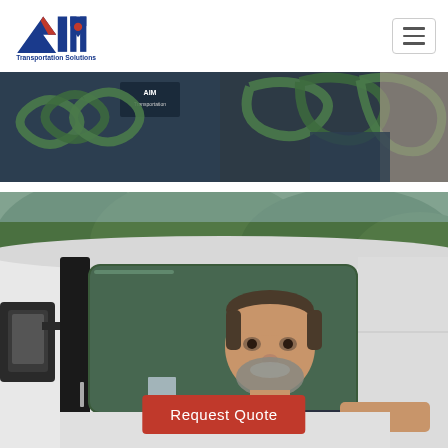[Figure (logo): AIM Transportation Solutions logo — blue triangle/arrow shape with red and blue letters AIM, subtitle 'Transportation Solutions']
[Figure (photo): Close-up photo of an AIM Transportation Solutions worker in dark uniform handling green coiled air hoses/cables on a truck]
[Figure (photo): Photo of a truck driver (middle-aged man with beard) leaning out of the window of a white semi-truck cab, smiling at camera, trees visible in background]
Request Quote